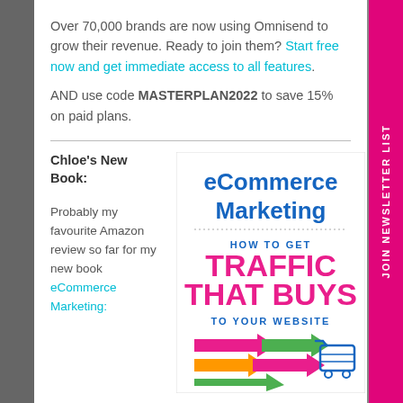Over 70,000 brands are now using Omnisend to grow their revenue. Ready to join them? Start free now and get immediate access to all features.
AND use code MASTERPLAN2022 to save 15% on paid plans.
Chloe's New Book:
Probably my favourite Amazon review so far for my new book eCommerce Marketing:
[Figure (illustration): Book cover for eCommerce Marketing: How to Get Traffic That Buys to Your Website, featuring colorful arrows pointing right and a shopping cart icon.]
JOIN NEWSLETTER LIST